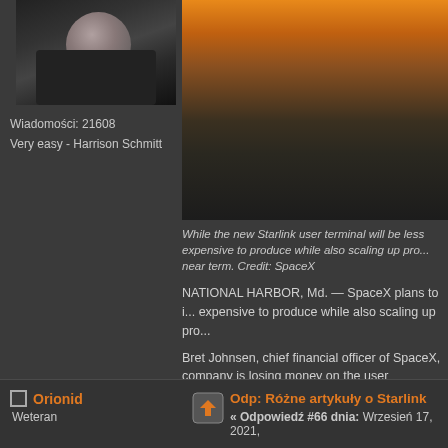[Figure (photo): Avatar photo of a person holding something white, dark background]
Wiadomości: 21608
Very easy - Harrison Schmitt
[Figure (photo): City skyline at sunset/dusk with orange sky]
While the new Starlink user terminal will be less expensive to produce while also scaling up production near term. Credit: SpaceX
NATIONAL HARBOR, Md. — SpaceX plans to introduce a new Starlink user terminal that will be less expensive to produce while also scaling up production.
Bret Johnsen, chief financial officer of SpaceX, said the company is losing money on the user terminals.
Source: https://spacenews.com/spacex-to-incre
Orionid
Weteran
Odp: Różne artykuły o Starlink
« Odpowiedź #66 dnia: Wrzesień 17, 2021,